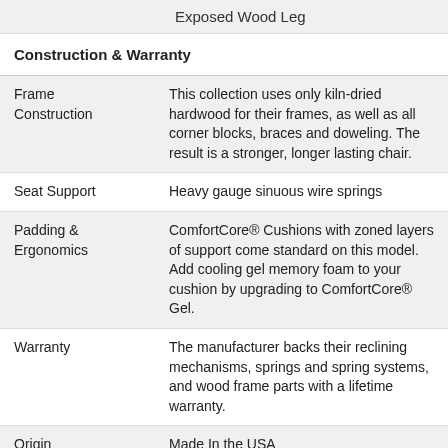Exposed Wood Leg
|  |  |
| --- | --- |
| Construction & Warranty |  |
| Frame Construction | This collection uses only kiln-dried hardwood for their frames, as well as all corner blocks, braces and doweling. The result is a stronger, longer lasting chair. |
| Seat Support | Heavy gauge sinuous wire springs |
| Padding & Ergonomics | ComfortCore® Cushions with zoned layers of support come standard on this model. Add cooling gel memory foam to your cushion by upgrading to ComfortCore® Gel. |
| Warranty | The manufacturer backs their reclining mechanisms, springs and spring systems, and wood frame parts with a lifetime warranty. |
| Origin | Made In the USA |